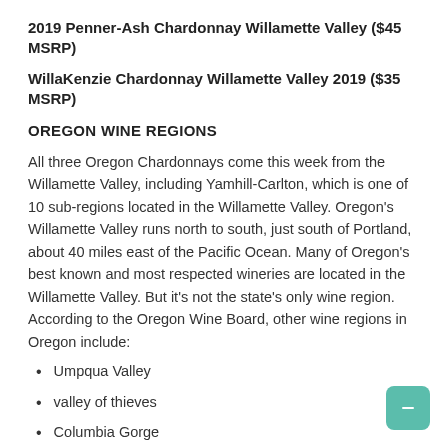2019 Penner-Ash Chardonnay Willamette Valley ($45 MSRP)
WillaKenzie Chardonnay Willamette Valley 2019 ($35 MSRP)
OREGON WINE REGIONS
All three Oregon Chardonnays come this week from the Willamette Valley, including Yamhill-Carlton, which is one of 10 sub-regions located in the Willamette Valley. Oregon's Willamette Valley runs north to south, just south of Portland, about 40 miles east of the Pacific Ocean. Many of Oregon's best known and most respected wineries are located in the Willamette Valley. But it's not the state's only wine region. According to the Oregon Wine Board, other wine regions in Oregon include:
Umpqua Valley
valley of thieves
Columbia Gorge
Walla Walla Valley